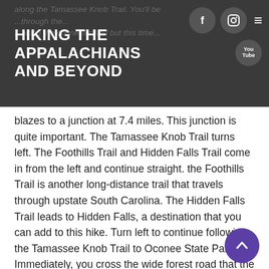HIKING THE APPALACHIANS AND BEYOND
blazes to a junction at 7.4 miles. This junction is quite important. The Tamassee Knob Trail turns left. The Foothills Trail and Hidden Falls Trail come in from the left and continue straight. the Foothills Trail is another long-distance trail that travels through upstate South Carolina. The Hidden Falls Trail leads to Hidden Falls, a destination that you can add to this hike. Turn left to continue following the Tamassee Knob Trail to Oconee State Park. Immediately, you cross the wide forest road that the Palmetto Trail follows - if you didn't use the connector, you would have turned here. To the left, the Palmetto Trail returns to Oconee Station. To the right, the Palmetto Trail continues to a different trailhead at Oconee State Park. Continue straight on the path with